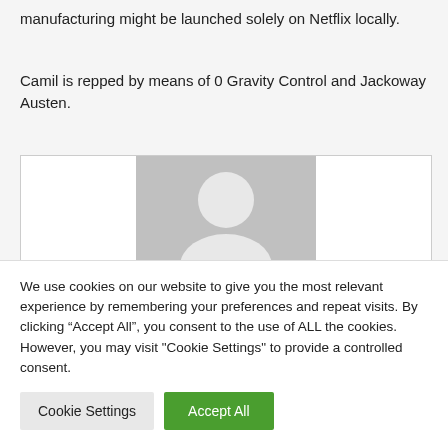manufacturing might be launched solely on Netflix locally.
Camil is repped by means of 0 Gravity Control and Jackoway Austen.
[Figure (photo): Default user avatar placeholder image with silhouette of a person on grey background]
We use cookies on our website to give you the most relevant experience by remembering your preferences and repeat visits. By clicking “Accept All”, you consent to the use of ALL the cookies. However, you may visit "Cookie Settings" to provide a controlled consent.